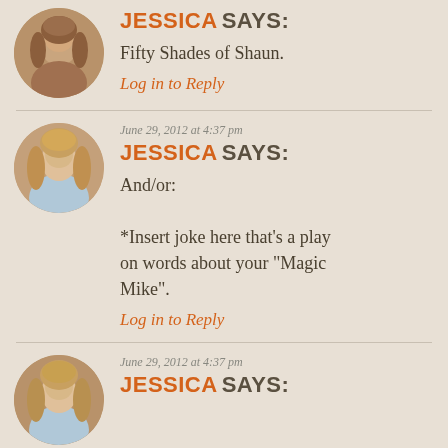[Figure (photo): Circular avatar photo of Jessica, a woman with long brown/blonde hair]
JESSICA SAYS:
Fifty Shades of Shaun.
Log in to Reply
June 29, 2012 at 4:37 pm
[Figure (photo): Circular avatar photo of Jessica, a woman with long wavy blonde hair, light blue top]
JESSICA SAYS:
And/or:
*Insert joke here that's a play on words about your “Magic Mike”.
Log in to Reply
June 29, 2012 at 4:37 pm
[Figure (photo): Circular avatar photo of Jessica, same woman with wavy blonde hair]
JESSICA SAYS: